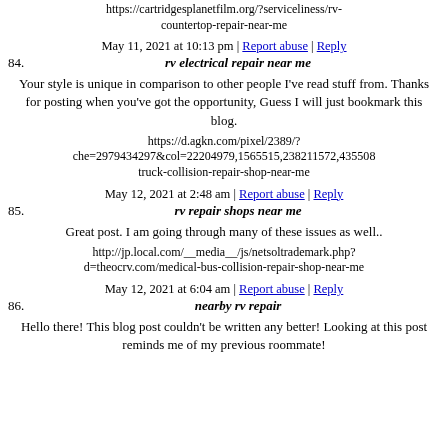https://cartridgesplanetfilm.org/?serviceliness/rv-countertop-repair-near-me
May 11, 2021 at 10:13 pm | Report abuse | Reply
84. rv electrical repair near me
Your style is unique in comparison to other people I've read stuff from. Thanks for posting when you've got the opportunity, Guess I will just bookmark this blog.
https://d.agkn.com/pixel/2389/?che=2979434297&col=22204979,1565515,238211572,435508 truck-collision-repair-shop-near-me
May 12, 2021 at 2:48 am | Report abuse | Reply
85. rv repair shops near me
Great post. I am going through many of these issues as well..
http://jp.local.com/__media__/js/netsoltrademark.php?d=theocrv.com/medical-bus-collision-repair-shop-near-me
May 12, 2021 at 6:04 am | Report abuse | Reply
86. nearby rv repair
Hello there! This blog post couldn't be written any better! Looking at this post reminds me of my previous roommate!